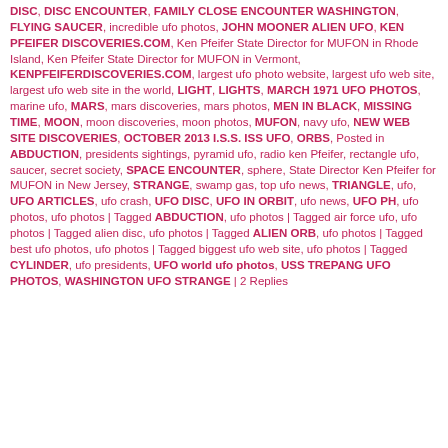DISC, DISC ENCOUNTER, FAMILY CLOSE ENCOUNTER WASHINGTON, FLYING SAUCER, incredible ufo photos, JOHN MOONER ALIEN UFO, KEN PFEIFER DISCOVERIES.COM, Ken Pfeifer State Director for MUFON in Rhode Island, Ken Pfeifer State Director for MUFON in Vermont, KENPFEIFERDISCOVERIES.COM, largest ufo photo website, largest ufo web site, largest ufo web site in the world, LIGHT, LIGHTS, MARCH 1971 UFO PHOTOS, marine ufo, MARS, mars discoveries, mars photos, MEN IN BLACK, MISSING TIME, MOON, moon discoveries, moon photos, MUFON, navy ufo, NEW WEB SITE DISCOVERIES, OCTOBER 2013 I.S.S. ISS UFO, ORBS, Posted in ABDUCTION, presidents sightings, pyramid ufo, radio ken Pfeifer, rectangle ufo, saucer, secret society, SPACE ENCOUNTER, sphere, State Director Ken Pfeifer for MUFON in New Jersey, STRANGE, swamp gas, top ufo news, TRIANGLE, ufo, UFO ARTICLES, ufo crash, UFO DISC, UFO IN ORBIT, ufo news, UFO PH, ufo photos, ufo photos | Tagged ABDUCTION, ufo photos | Tagged air force ufo, ufo photos | Tagged alien disc, ufo photos | Tagged ALIEN ORB, ufo photos | Tagged best ufo photos, ufo photos | Tagged biggest ufo web site, ufo photos | Tagged CYLINDER, ufo presidents, UFO world ufo photos, USS TREPANG UFO PHOTOS, WASHINGTON UFO STRANGE | 2 Replies